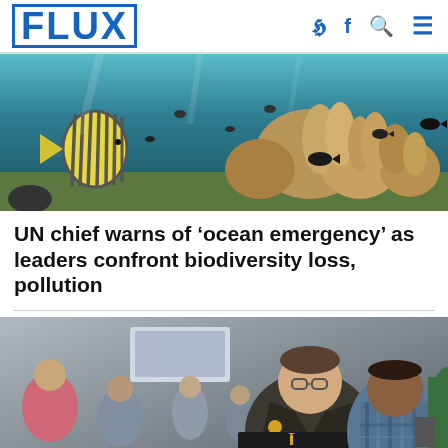FLUX
[Figure (photo): Underwater coral reef scene with tropical fish including a striped butterfly fish, various coral formations, and other fish swimming in blue water]
UN chief warns of ‘ocean emergency’ as leaders confront biodiversity loss, pollution
[Figure (photo): People at what appears to be a conference or event, featuring a man in a dark jacket with glasses at a laptop displaying an Amnesty International logo, and another man in a plaid shirt beside him, with a crowd in the background]